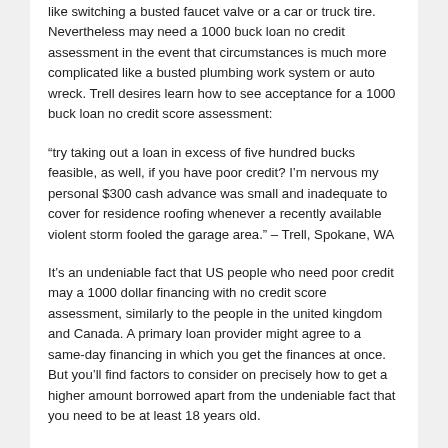like switching a busted faucet valve or a car or truck tire. Nevertheless may need a 1000 buck loan no credit assessment in the event that circumstances is much more complicated like a busted plumbing work system or auto wreck. Trell desires learn how to see acceptance for a 1000 buck loan no credit score assessment:
“try taking out a loan in excess of five hundred bucks feasible, as well, if you have poor credit? I’m nervous my personal $300 cash advance was small and inadequate to cover for residence roofing whenever a recently available violent storm fooled the garage area.” – Trell, Spokane, WA
It’s an undeniable fact that US people who need poor credit may a 1000 dollar financing with no credit score assessment, similarly to the people in the united kingdom and Canada. A primary loan provider might agree to a same-day financing in which you get the finances at once. But you’ll find factors to consider on precisely how to get a higher amount borrowed apart from the undeniable fact that you need to be at least 18 years old.